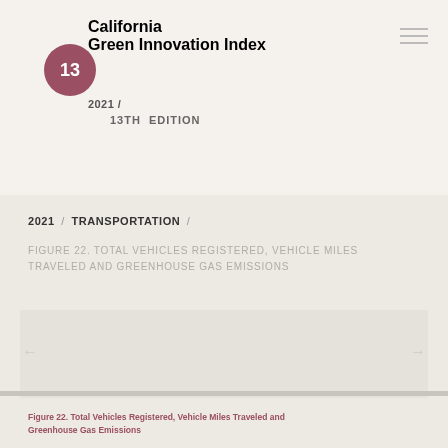California Green Innovation Index
2021 / 13TH EDITION
2021 / TRANSPORTATION /
FIGURE 22. TOTAL VEHICLES REGISTERED, VEHICLE MILES TRAVELED AND GREENHOUSE GAS EMISSIONS
Figure 22. Total Vehicles Registered, Vehicle Miles Traveled and Greenhouse Gas Emissions